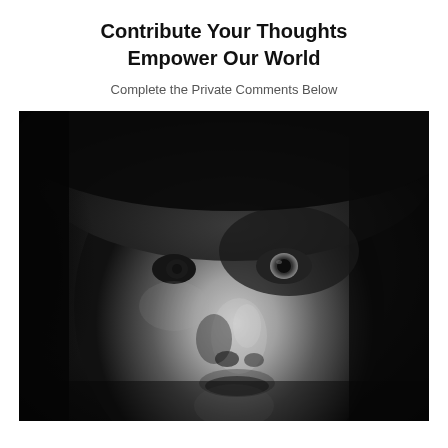Contribute Your Thoughts
Empower Our World
Complete the Private Comments Below
[Figure (photo): Close-up black and white portrait photograph of a young man's face, partially shadowed, with intense gaze, wearing a dark hat or hood partially visible at top. Dramatic chiaroscuro lighting with dark background.]